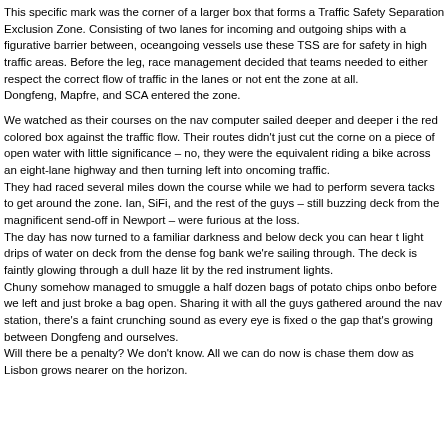This specific mark was the corner of a larger box that forms a Traffic Safety Separation Exclusion Zone. Consisting of two lanes for incoming and outgoing ships with a figurative barrier between, oceangoing vessels use these TSS areas for safety in high traffic areas. Before the leg, race management decided that teams needed to either respect the correct flow of traffic in the lanes or not enter the zone at all.
Dongfeng, Mapfre, and SCA entered the zone.

We watched as their courses on the nav computer sailed deeper and deeper into the red colored box against the traffic flow. Their routes didn't just cut the corner on a piece of open water with little significance – no, they were the equivalent of riding a bike across an eight-lane highway and then turning left into oncoming traffic.
They had raced several miles down the course while we had to perform several tacks to get around the zone. Ian, SiFi, and the rest of the guys – still buzzing on deck from the magnificent send-off in Newport – were furious at the loss.
The day has now turned to a familiar darkness and below deck you can hear the light drips of water on deck from the dense fog bank we're sailing through. The deck is faintly glowing through a dull haze lit by the red instrument lights.
Chuny somehow managed to smuggle a half dozen bags of potato chips onboard before we left and just broke a bag open. Sharing it with all the guys gathered around the nav station, there's a faint crunching sound as every eye is fixed on the gap that's growing between Dongfeng and ourselves.
Will there be a penalty? We don't know. All we can do now is chase them down as Lisbon grows nearer on the horizon.